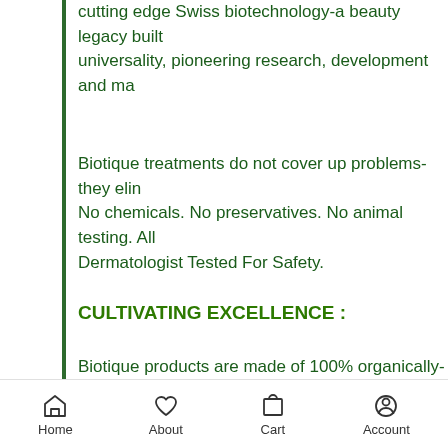cutting edge Swiss biotechnology-a beauty legacy built on universality, pioneering research, development and ma
Biotique treatments do not cover up problems-they elin No chemicals. No preservatives. No animal testing. All Dermatologist Tested For Safety.
CULTIVATING EXCELLENCE :
Biotique products are made of 100% organically-pure, preservative-free ingredients and renewable resources cultivated, gathered, blended and manufactured in the foothills of the Himalayas.
At Biotique, hybrid plant and plant extracts are combin with biotechnology to produce highly effective products
We have a special cold extraction process that preserv
Home   About   Cart   Account